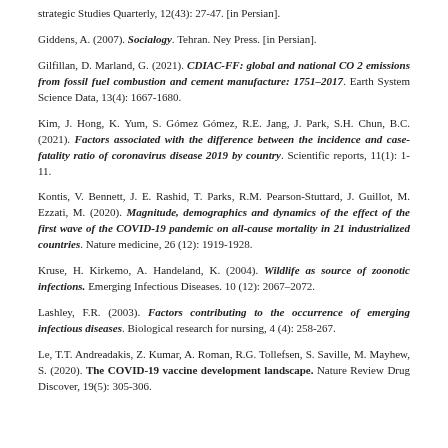strategic Studies Quarterly, 12(43): 27-47. [in Persian].
Giddens, A. (2007). Socialogy. Tehran. Ney Press. [in Persian].
Gilfillan, D. Marland, G. (2021). CDIAC-FF: global and national CO 2 emissions from fossil fuel combustion and cement manufacture: 1751–2017. Earth System Science Data, 13(4): 1667-1680.
Kim, J. Hong, K. Yum, S. Gómez Gómez, R.E. Jang, J. Park, S.H. Chun, B.C. (2021). Factors associated with the difference between the incidence and case-fatality ratio of coronavirus disease 2019 by country. Scientific reports, 11(1): 1-11.
Kontis, V. Bennett, J. E. Rashid, T. Parks, R.M. Pearson-Stuttard, J. Guillot, M. Ezzati, M. (2020). Magnitude, demographics and dynamics of the effect of the first wave of the COVID-19 pandemic on all-cause mortality in 21 industrialized countries. Nature medicine, 26 (12): 1919-1928.
Kruse, H. Kirkemo, A. Handeland, K. (2004). Wildlife as source of zoonotic infections. Emerging Infectious Diseases. 10 (12): 2067–2072.
Lashley, F.R. (2003). Factors contributing to the occurrence of emerging infectious diseases. Biological research for nursing, 4 (4): 258-267.
Le, T.T. Andreadakis, Z. Kumar, A. Roman, R.G. Tollefsen, S. Saville, M. Mayhew, S. (2020). The COVID-19 vaccine development landscape. Nature Review Drug Discover, 19(5): 305-306.